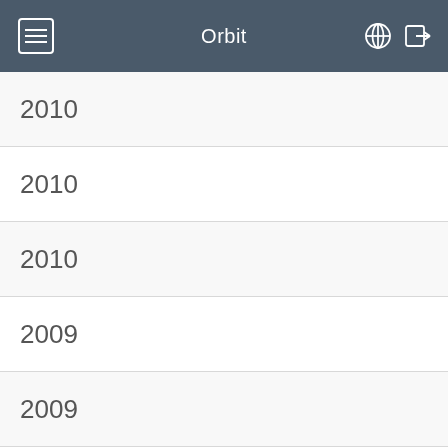Orbit
2010
2010
2010
2009
2009
2009
2009
2009
2009
2009
2009 (partial)